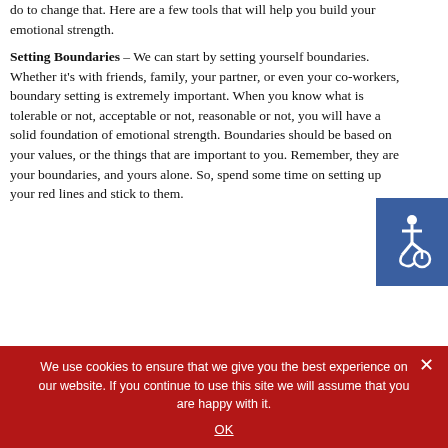do to change that. Here are a few tools that will help you build your emotional strength.
Setting Boundaries – We can start by setting yourself boundaries. Whether it's with friends, family, your partner, or even your co-workers, boundary setting is extremely important. When you know what is tolerable or not, acceptable or not, reasonable or not, you will have a solid foundation of emotional strength. Boundaries should be based on your values, or the things that are important to you. Remember, they are your boundaries, and yours alone. So, spend some time on setting up your red lines and stick to them.
[Figure (photo): Dark textured photo, appears to be a close-up of a rough dark surface, partially visible at the bottom of the page]
We use cookies to ensure that we give you the best experience on our website. If you continue to use this site we will assume that you are happy with it.
OK